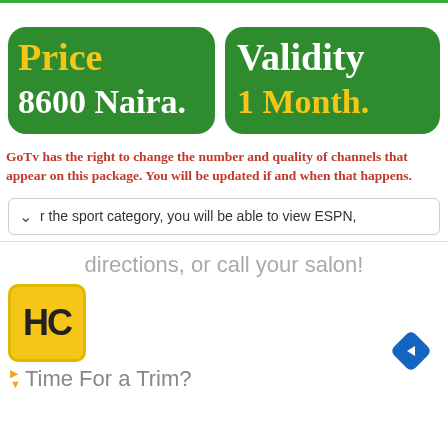[Figure (infographic): Two green rounded rectangle cards side by side. Left card: title 'Price' in gold, value '8600 Naira.' in white. Right card: title 'Validity' in white, value '1 Month.' in gold.]
GoTv has the right to change the number and quality of channels that appear on this package. You will be updated if and when that happens.
r the sport category, you will be able to view ESPN,
directions, or call your salon!
[Figure (infographic): Advertisement section with HC logo in yellow box, navigation arrow diamond icon, and text 'Time For a Trim?']
Time For a Trim?